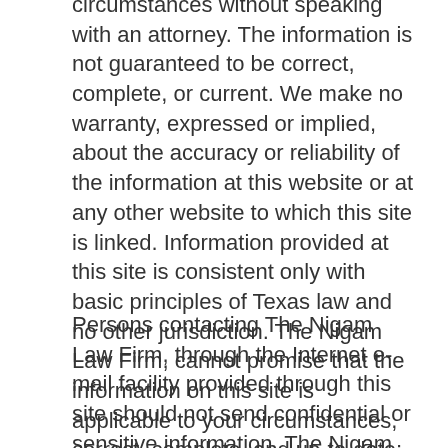circumstances without speaking with an attorney. The information is not guaranteed to be correct, complete, or current. We make no warranty, expressed or implied, about the accuracy or reliability of the information at this website or at any other website to which this site is linked. Information provided at this site is consistent only with basic principles of Texas law and no other jurisdiction. The Nigam Law Firm, cannot promise that the information on this site is applicable to your circumstances, correct, complete, and up-to-date; that your access will be uninterrupted; or that material accessible from this site is free of viruses.
Persons contacting The Nigam Law Firm, through the Internet e-mail facility provided through this site should not send confidential or sensitive information. The Nigam Law Firm, does not currently collect personal identifying information through our web site except: for